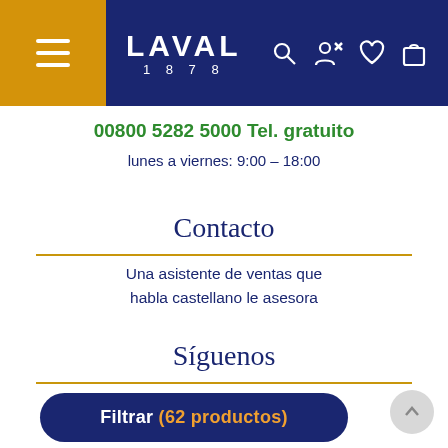[Figure (screenshot): Laval 1878 website header with dark blue background, gold/yellow hamburger menu box on left, LAVAL 1878 logo in white, and search/account/wishlist/cart icons on right]
00800 5282 5000 Tel. gratuito
lunes a viernes: 9:00 – 18:00
Contacto
Una asistente de ventas que habla castellano le asesora
Síguenos
Filtrar (62 productos)